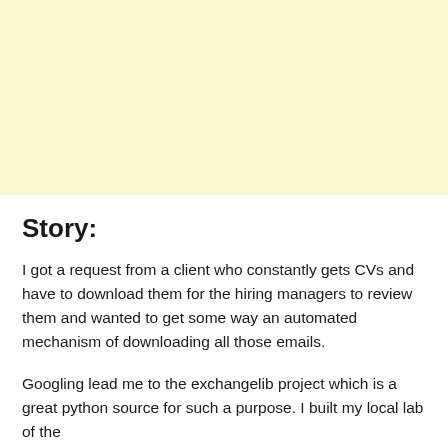[Figure (other): Light yellow rectangular block, likely a placeholder for an image or advertisement]
Story:
I got a request from a client who constantly gets CVs and have to download them for the hiring managers to review them and wanted to get some way an automated mechanism of downloading all those emails.
Googling lead me to the exchangelib project which is a great python source for such a purpose. I built my local lab of the